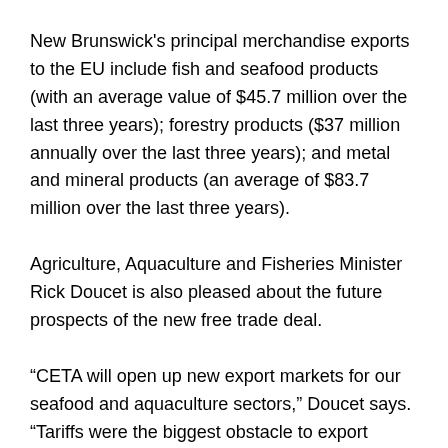New Brunswick's principal merchandise exports to the EU include fish and seafood products (with an average value of $45.7 million over the last three years); forestry products ($37 million annually over the last three years); and metal and mineral products (an average of $83.7 million over the last three years).
Agriculture, Aquaculture and Fisheries Minister Rick Doucet is also pleased about the future prospects of the new free trade deal.
“CETA will open up new export markets for our seafood and aquaculture sectors,” Doucet says. “Tariffs were the biggest obstacle to export growth. CETA removes that obstacle.” For fish and seafood, almost 96 per cent of EU tariff lines will be duty-free when CETA takes effect. After seven years, 100 per cent will be duty-free, making New Brunswick’s goods